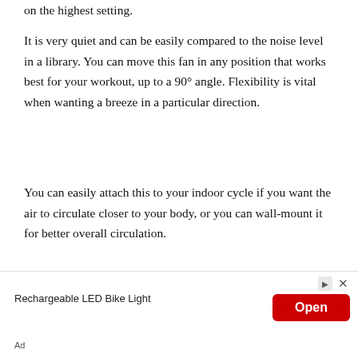on the highest setting.
It is very quiet and can be easily compared to the noise level in a library. You can move this fan in any position that works best for your workout, up to a 90° angle. Flexibility is vital when wanting a breeze in a particular direction.
You can easily attach this to your indoor cycle if you want the air to circulate closer to your body, or you can wall-mount it for better overall circulation.
Three Adjustable Speeds (Low, Medium,
[Figure (other): Advertisement banner: Rechargeable LED Bike Light with Open button and Ad label]